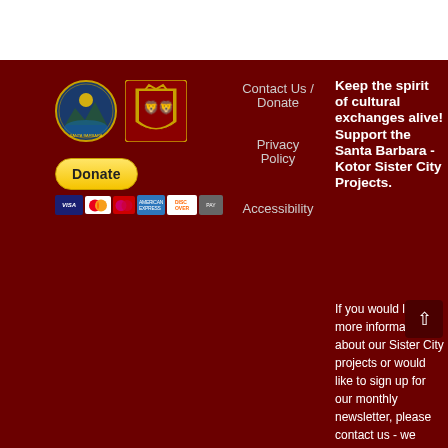[Figure (logo): Two circular city/organization logos side by side: Santa Barbara city seal and Kotor coat of arms]
[Figure (other): PayPal Donate button with payment card icons (Visa, Mastercard, American Express, Discover, and other cards)]
Contact Us / Donate
Privacy Policy
Accessibility
Keep the spirit of cultural exchanges alive! Support the Santa Barbara - Kotor Sister City Projects.
If you would like more information about our Sister City projects or would like to sign up for our monthly newsletter, please contact us - we would enjoy